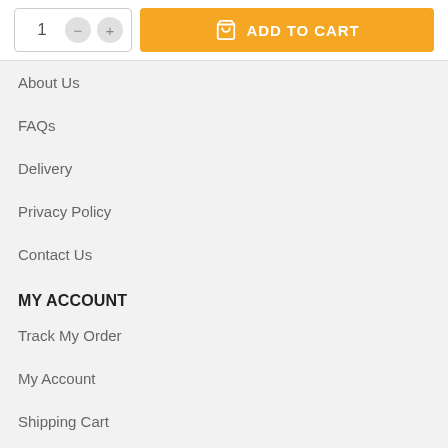[Figure (screenshot): E-commerce add to cart UI with quantity selector (showing 1) and orange ADD TO CART button with shopping bag icon]
About Us
FAQs
Delivery
Privacy Policy
Contact Us
MY ACCOUNT
Track My Order
My Account
Shipping Cart
Login
CUSTOMER SERVICE